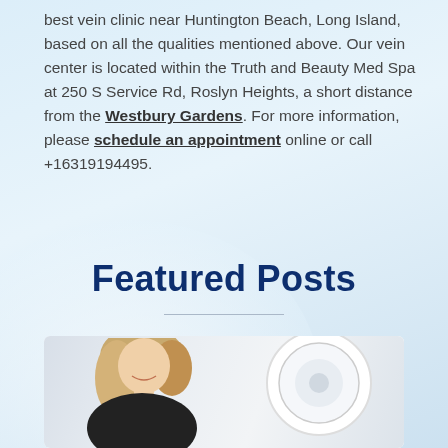best vein clinic near Huntington Beach, Long Island, based on all the qualities mentioned above. Our vein center is located within the Truth and Beauty Med Spa at 250 S Service Rd, Roslyn Heights, a short distance from the Westbury Gardens. For more information, please schedule an appointment online or call +16319194495.
Featured Posts
[Figure (photo): Photo of a blonde woman in a black top, smiling and looking down, with a partial view of a circular medical device on the right side. White/light blue background.]